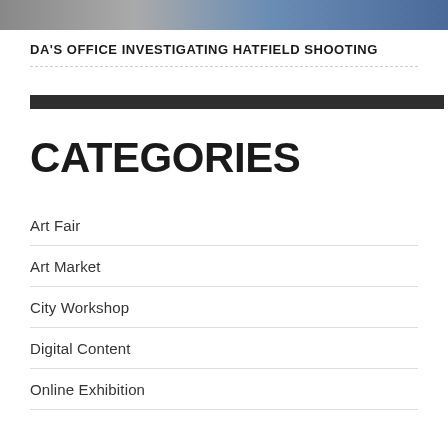[Figure (photo): Horizontal photo strip showing people, partially cropped]
DA'S OFFICE INVESTIGATING HATFIELD SHOOTING
CATEGORIES
Art Fair
Art Market
City Workshop
Digital Content
Online Exhibition